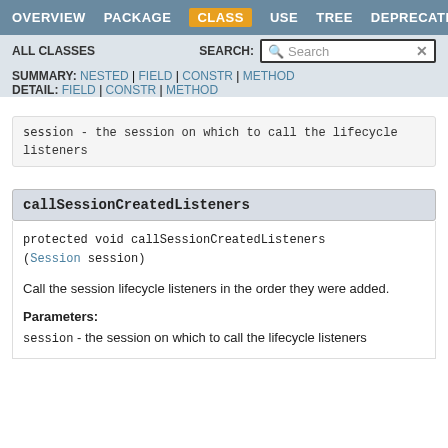OVERVIEW  PACKAGE  CLASS  USE  TREE  DEPRECATED
ALL CLASSES  SEARCH:
SUMMARY: NESTED | FIELD | CONSTR | METHOD  DETAIL: FIELD | CONSTR | METHOD
session - the session on which to call the lifecycle listeners
callSessionCreatedListeners
protected void callSessionCreatedListeners(Session session)
Call the session lifecycle listeners in the order they were added.
Parameters:
session - the session on which to call the lifecycle listeners